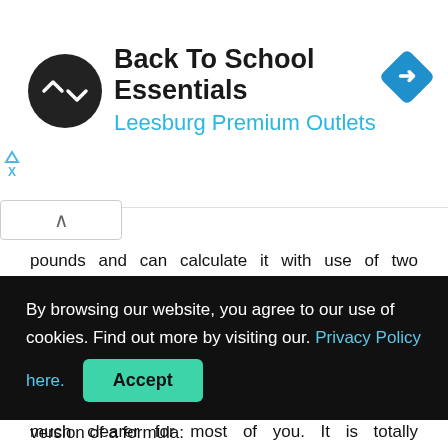[Figure (logo): Back To School Essentials ad banner with circular logo, title, subtitle, and navigation arrow icon]
pounds and can calculate it with use of two different formulas, let's move on. Now we want to show you all outcomes in charts.
Convert 97.95 kilogram to pounds
We realize that results shown in tables are so much clearer for most of you. It is totally understandable, so we
By browsing our website, you agree to our use of cookies. Find out more by visiting our. Privacy Policy here. Accept
version of a formula: